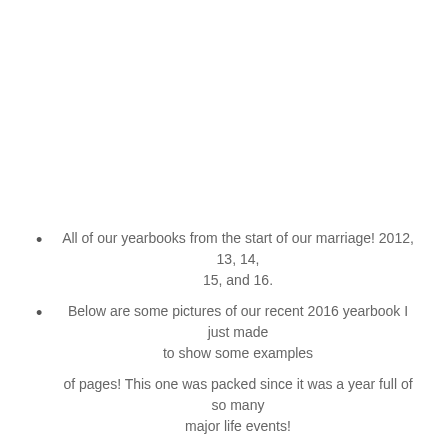All of our yearbooks from the start of our marriage! 2012, 13, 14, 15, and 16.
Below are some pictures of our recent 2016 yearbook I just made to show some examples of pages! This one was packed since it was a year full of so many major life events!